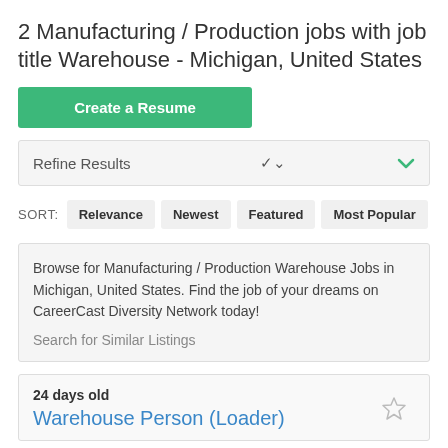2 Manufacturing / Production jobs with job title Warehouse - Michigan, United States
Create a Resume
Refine Results
SORT: Relevance Newest Featured Most Popular
Browse for Manufacturing / Production Warehouse Jobs in Michigan, United States. Find the job of your dreams on CareerCast Diversity Network today! Search for Similar Listings
24 days old
Warehouse Person (Loader)